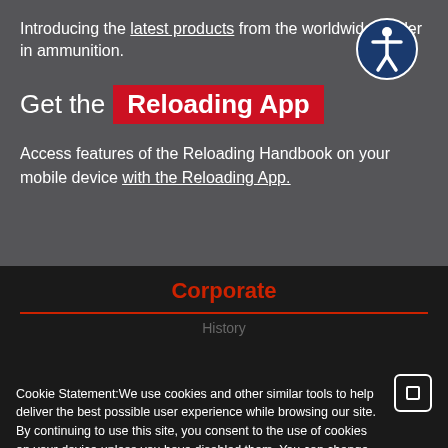Introducing the latest products from the worldwide leader in ammunition.
[Figure (illustration): Accessibility icon: white stick figure in a circle with dark blue background]
Get the Reloading App
Access features of the Reloading Handbook on your mobile device with the Reloading App.
Corporate
History
Cookie Statement:We use cookies and other similar tools to help deliver the best possible user experience while browsing our site. By continuing to use this site, you consent to the use of cookies on your device unless you have disabled them. You can change your cookie settings at any time using the controls on your web browser. However, parts of our site may not function correctly without them.